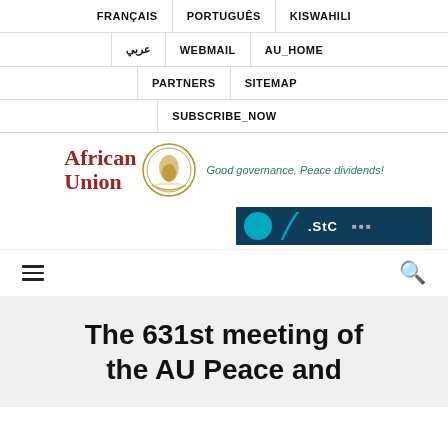FRANÇAIS | PORTUGUÊS | KISWAHILI | عربي | WEBMAIL | AU_HOME | PARTNERS | SITEMAP | SUBSCRIBE_NOW
[Figure (logo): African Union logo with emblem and tagline: Good governance, Peace dividends!]
[Figure (screenshot): STC banner advertisement on dark teal background]
The 631st meeting of the AU Peace and